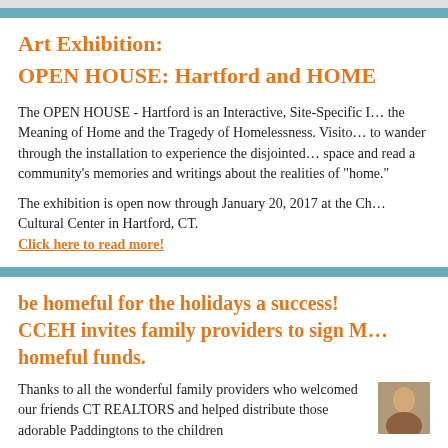Art Exhibition:
OPEN HOUSE: Hartford and HOME
The OPEN HOUSE - Hartford is an Interactive, Site-Specific Installation exploring the Meaning of Home and the Tragedy of Homelessness. Visitors are encouraged to wander through the installation to experience the disjointed nature of living space and read a community's memories and writings about the many complicated realities of "home."
The exhibition is open now through January 20, 2017 at the Charter Oak Cultural Center in Hartford, CT.
Click here to read more!
be homeful for the holidays a success!
CCEH invites family providers to sign M homeful funds.
Thanks to all the wonderful family providers who welcomed our friends CT REALTORS and helped distribute those adorable Paddingtons to the children
[Figure (photo): A photo thumbnail of a person with brown hair, partially visible in the lower right corner of the page.]